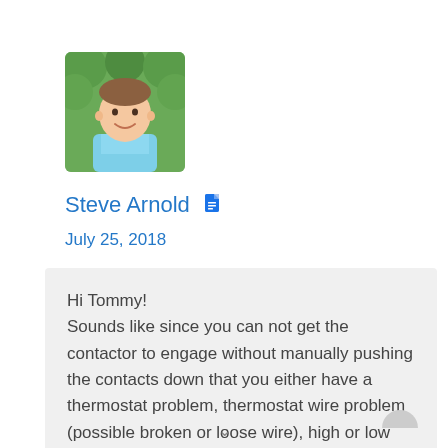[Figure (photo): Profile photo of Steve Arnold, a man in a light blue shirt smiling, outdoors with green foliage background]
Steve Arnold
July 25, 2018
Hi Tommy!
Sounds like since you can not get the contactor to engage without manually pushing the contacts down that you either have a thermostat problem, thermostat wire problem (possible broken or loose wire), high or low pressure safety switch problem, time delay